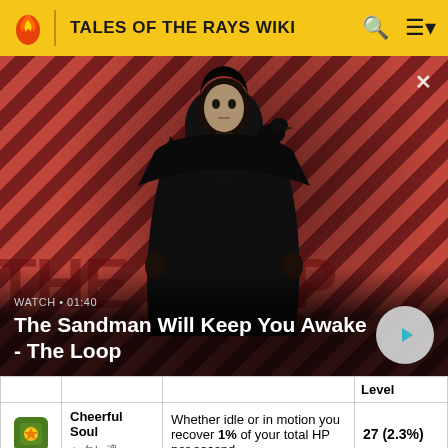TALES OF THE RAYS WIKI
[Figure (screenshot): Video thumbnail showing a dark-cloaked figure with a raven on shoulder against a red diagonal stripe background. Video title 'The Sandman Will Keep You Awake - The Loop' with duration 01:40 and a play button.]
|  |  |  | Level |
| --- | --- | --- | --- |
| [icon] | Cheerful Soul
ヘタレ魂 | Whether idle or in motion you recover 1% of your total HP per second. | 27 (2.3%) |